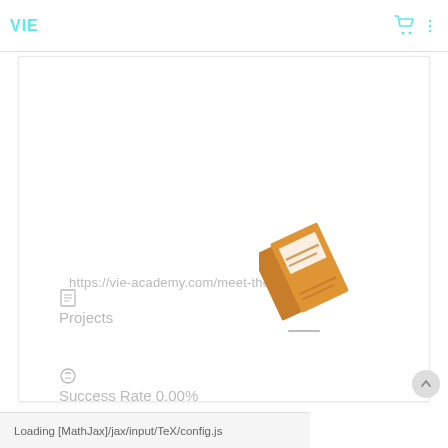VIE
https://vie-academy.com/meet-the-team/
[Figure (illustration): An orange/brown illustrated book tilted at an angle, with a white label/sticker area on its cover]
Projects
Success Rate 0.00%
Email jean-marc.levrat@swisswest.ch
Residence Switzerland
Loading [MathJax]/jax/input/TeX/config.js